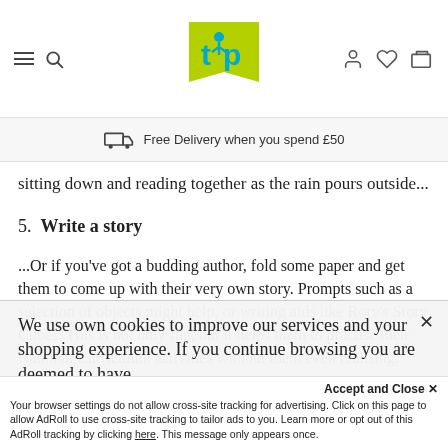[Toy Planet logo with navigation icons: hamburger menu, search, logo, account, wishlist, cart]
Free Delivery when you spend £50
sitting down and reading together as the rain pours outside...
5.  Write a story
...Or if you've got a budding author, fold some paper and get them to come up with their very own story. Prompts such as a selection of objects might help, or writing aids like Rory's Story Cubes. This is not only fun, but it helps them to practise their National Curriculum activities without them even realising.
We use own cookies to improve our services and your shopping experience. If you continue browsing you are deemed to have...
Accept and Close ✕
Your browser settings do not allow cross-site tracking for advertising. Click on this page to allow AdRoll to use cross-site tracking to tailor ads to you. Learn more or opt out of this AdRoll tracking by clicking here. This message only appears once.